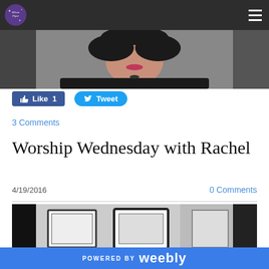Navigation bar with logo and hamburger menu
[Figure (photo): Photo of a woman with dark hair, pink lips, wearing a dark blazer, cropped to show face and upper body]
[Figure (infographic): Facebook Like button showing Like 1 and Twitter Tweet button]
3 Comments
Worship Wednesday with Rachel
4/19/2016
0 Comments
[Figure (photo): Black and white photo showing framed pictures on a wall, partially visible]
POWERED BY weebly